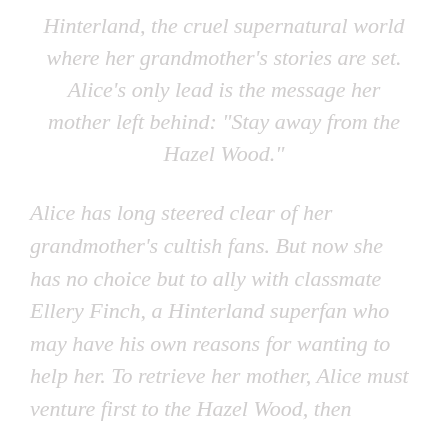Hinterland, the cruel supernatural world where her grandmother's stories are set. Alice's only lead is the message her mother left behind: “Stay away from the Hazel Wood.”
Alice has long steered clear of her grandmother’s cultish fans. But now she has no choice but to ally with classmate Ellery Finch, a Hinterland superfan who may have his own reasons for wanting to help her. To retrieve her mother, Alice must venture first to the Hazel Wood, then